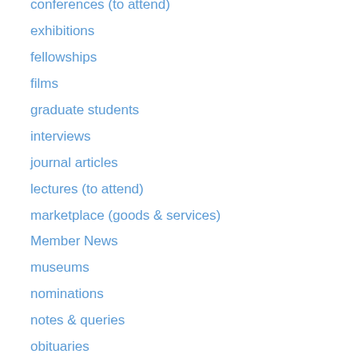conferences (to attend)
exhibitions
fellowships
films
graduate students
interviews
journal articles
lectures (to attend)
marketplace (goods & services)
Member News
museums
nominations
notes & queries
obituaries
on site
online learning
opinion pages
opportunities
resources
reviews